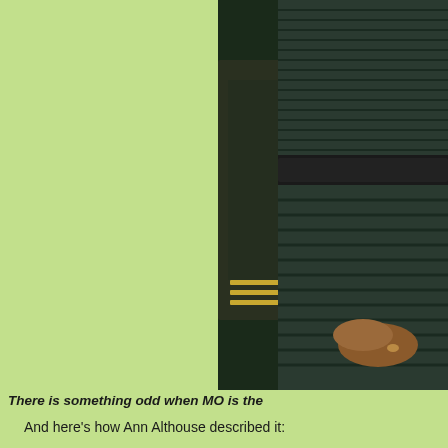[Figure (photo): Partial photo of a person wearing a dark textured/knitted outfit with a wide black belt, another person in military uniform visible in background]
There is something odd when MO is the
And here's how Ann Althouse described it:
Michelle Obama... is wearing something that seems halfway and an enlarged insect's carapace.